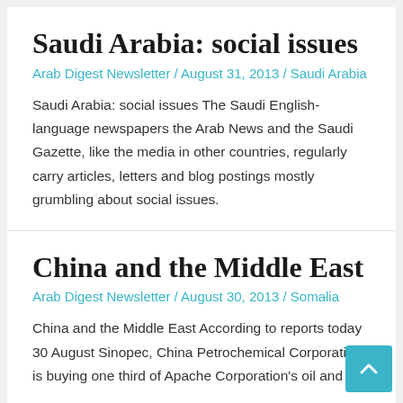Saudi Arabia: social issues
Arab Digest Newsletter / August 31, 2013 / Saudi Arabia
Saudi Arabia: social issues The Saudi English-language newspapers the Arab News and the Saudi Gazette, like the media in other countries, regularly carry articles, letters and blog postings mostly grumbling about social issues.
China and the Middle East
Arab Digest Newsletter / August 30, 2013 / Somalia
China and the Middle East According to reports today 30 August Sinopec, China Petrochemical Corporation, is buying one third of Apache Corporation's oil and gas